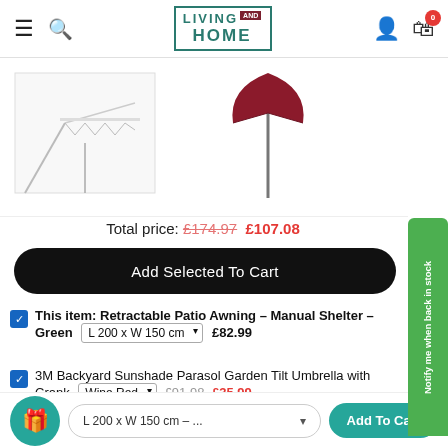Living Home AND - navigation bar with hamburger menu, search icon, logo, user icon, cart icon (0)
[Figure (photo): Product images: retractable patio awning on left, wine red garden parasol umbrella on right]
Total price: £174.97 £107.08
Add Selected To Cart
This item: Retractable Patio Awning - Manual Shelter - Green  L 200 x W 150 cm  £82.99
3M Backyard Sunshade Parasol Garden Tilt Umbrella with Crank  Wine Red  £91.98  £35.99
Notify me when back in stock
L 200 x W 150 cm - ...   Add To Cart